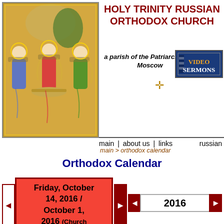[Figure (illustration): Holy Trinity icon - Russian Orthodox religious icon showing three angels seated at a table]
HOLY TRINITY RUSSIAN ORTHODOX CHURCH
a parish of the Patriarchate of Moscow
[Figure (logo): Video Sermons badge/button with blue background and orange/white text]
main | about us | links    russian
main > orthodox calendar
Orthodox Calendar
Friday, October 14, 2016 / October 1, 2016 (Church Calendar)
2016
17th Week after Pentecost. Tone seven. Fast. Fish Allowed
⊕ The Protection of Our Most Holy Lady the Theotokos and Ever-Virgin Mary.
Apostle Ananias of the
| Jan | Feb | Mar | Apr | May | Jun | Jul | Aug | Sep | Oct | Nov | Dec |
| --- | --- | --- | --- | --- | --- | --- | --- | --- | --- | --- | --- |
| Sun | Mon | Tue | Wed | Thu | Fri | Sat |
| --- | --- | --- | --- | --- | --- | --- |
|  |  |  |  |  |  | 1 |
| 2 | 3 | 4 | 5 | 6 | 7 | 8 |
| 9 | 10 | 11 | 12 | 13 | 14 | 15 |